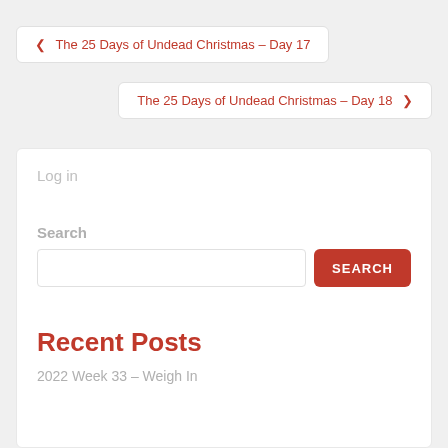❮ The 25 Days of Undead Christmas – Day 17
The 25 Days of Undead Christmas – Day 18 ❯
Log in
Search
Recent Posts
2022 Week 33 – Weigh In